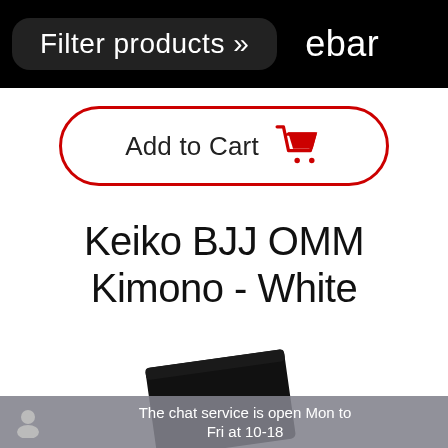Filter products » ebar
Add to Cart
Keiko BJJ OMM Kimono - White
[Figure (photo): Partial view of a black BJJ kimono/gi folded or packaged, visible from the bottom portion of the page]
The chat service is open Mon to Fri at 10-18